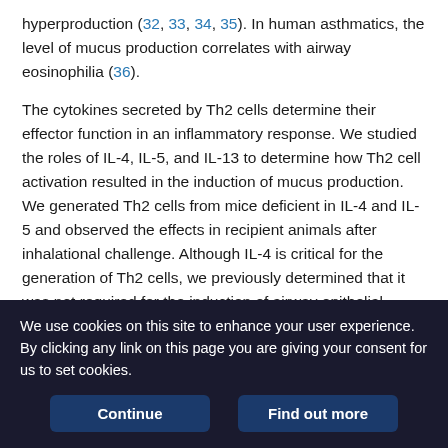hyperproduction (32, 33, 34, 35). In human asthmatics, the level of mucus production correlates with airway eosinophilia (36).
The cytokines secreted by Th2 cells determine their effector function in an inflammatory response. We studied the roles of IL-4, IL-5, and IL-13 to determine how Th2 cell activation resulted in the induction of mucus production. We generated Th2 cells from mice deficient in IL-4 and IL-5 and observed the effects in recipient animals after inhalational challenge. Although IL-4 is critical for the generation of Th2 cells, we previously determined that it was not required for the induction of airway epithelial mucus production (8). We now show that in the absence of IL-4, IL-4Rα signaling is required to stimulate mucus production. The
We use cookies on this site to enhance your user experience. By clicking any link on this page you are giving your consent for us to set cookies.